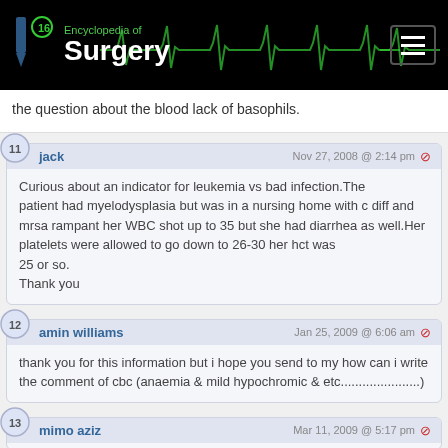Encyclopedia of Surgery
the question about the blood lack of basophils.
jack — Nov 27, 2008 @ 2:14 pm
Curious about an indicator for leukemia vs bad infection.The patient had myelodysplasia but was in a nursing home with c diff and mrsa rampant her WBC shot up to 35 but she had diarrhea as well.Her platelets were allowed to go down to 26-30 her hct was 25 or so.
Thank you
amin williams — Jan 25, 2009 @ 6:06 am
thank you for this information but i hope you send to my how can i write the comment of cbc (anaemia & mild hypochromic & etc......................)
mimo aziz — Mar 11, 2009 @ 5:17 pm